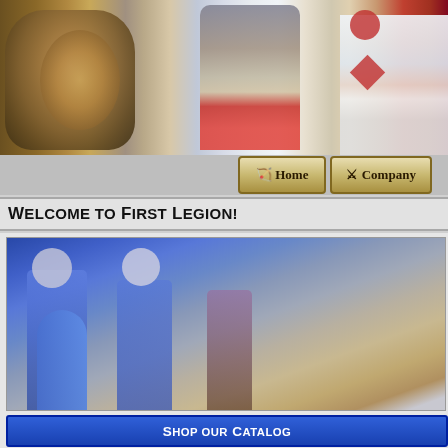[Figure (photo): Banner with painted miniature figures: monster creature, armored knight with red cape, Templar knight in white surcoat with red crosses, and Napoleonic soldier in red uniform]
[Figure (screenshot): Navigation bar with Home and Company buttons styled with medieval/parchment look]
Welcome to First Legion!
[Figure (photo): Painted Roman or fantasy soldier miniatures with blue shields displaying fleur-de-lis patterns]
Shop our Catalog
28mm Fantasy Figures *NEW*
60mm Fantasy Figures *NEW*
THE BIG SALE!
1:35th Scale Resin Figure Kits
30mm Metal Figure Kits
NAP0647 Old Guard Dutch Grenadier
<< Previous in New Releases/Pre-Orders
[Figure (photo): Painted Napoleonic Old Guard Dutch Grenadier miniature figure, standing at attention with musket, wearing tall bearskin hat and white uniform]